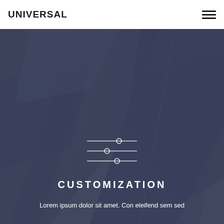UNIVERSAL
[Figure (illustration): Dark steel/industrial geometric background with overlapping angular shapes in dark blue-grey tones, with a slider/customization icon (three horizontal lines with circles) in the center]
CUSTOMIZATION
Lorem ipsum dolor sit amet. Con eleifend sem sed